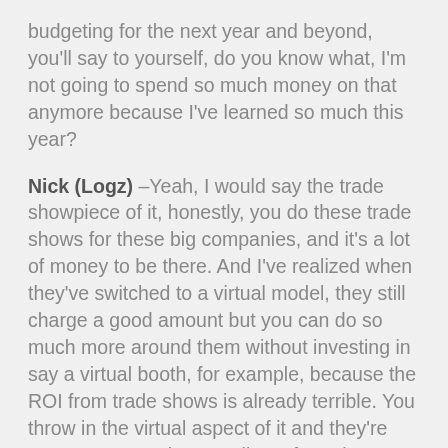budgeting for the next year and beyond, you'll say to yourself, do you know what, I'm not going to spend so much money on that anymore because I've learned so much this year?
Nick (Logz) – Yeah, I would say the trade showpiece of it, honestly, you do these trade shows for these big companies, and it's a lot of money to be there. And I've realized when they've switched to a virtual model, they still charge a good amount but you can do so much more around them without investing in say a virtual booth, for example, because the ROI from trade shows is already terrible. You throw in the virtual aspect of it and they're even worse. And I can tell you from the results that we've seen, virtual booths within trade shows are useless. But if you mix in the